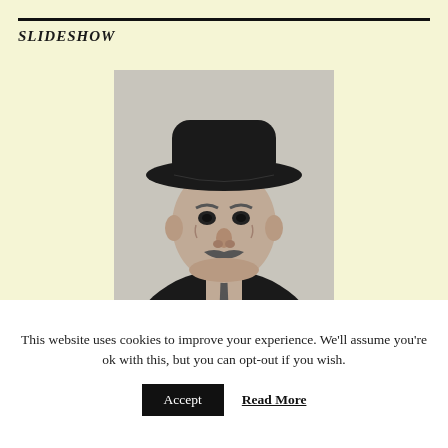SLIDESHOW
[Figure (photo): Black and white portrait photograph of an elderly man wearing a dark fedora hat, suit, and tie with a mustache, looking slightly to the side.]
This website uses cookies to improve your experience. We'll assume you're ok with this, but you can opt-out if you wish.
Accept   Read More